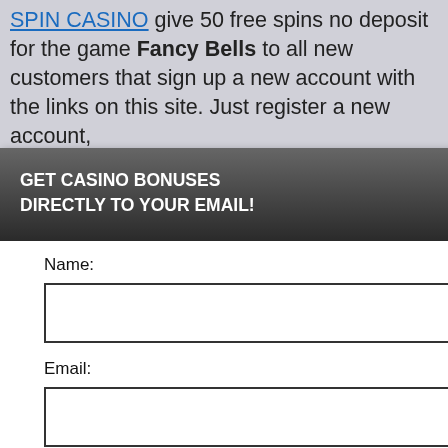SPIN CASINO give 50 free spins no deposit for the game Fancy Bells to all new customers that sign up a new account with the links on this site. Just register a new account, get 50 no deposit free spins, bonuses up to $1000 with yor 3 first deposits to get 100% up to $400
no deposit for Fancy Bells get 100% bonus up to $400
valid for all new players from Ireland perience, we use Using this site, kie & privacy policy.
[Figure (screenshot): Email signup modal overlay with dark header 'GET CASINO BONUSES DIRECTLY TO YOUR EMAIL!', Name and Email input fields, Submit button, and privacy policy disclaimer. Black cookie banner visible behind modal on right side.]